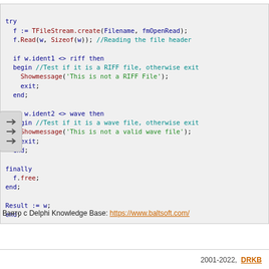try
  f := TFileStream.create(Filename, fmOpenRead);
  f.Read(w, Sizeof(w)); //Reading the file header

  if w.ident1 <> riff then
  begin //Test if it is a RIFF file, otherwise exit
    Showmessage('This is not a RIFF File');
    exit;
  end;

  if w.ident2 <> wave then
  begin //Test if it is a wave file, otherwise exit
    Showmessage('This is not a valid wave file');
    exit;
  end;

finally
  f.free;
end;

Result := w;
end;
Взято с Delphi Knowledge Base: https://www.baltsoft.com/
2001-2022,  DRKB